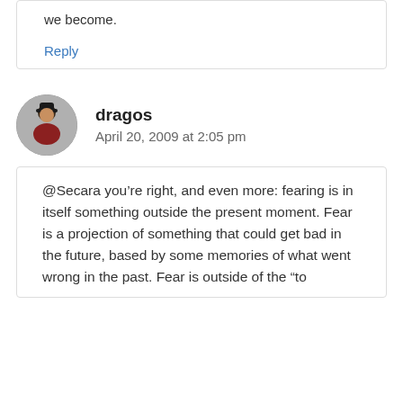we become.
Reply
dragos
April 20, 2009 at 2:05 pm
@Secara you’re right, and even more: fearing is in itself something outside the present moment. Fear is a projection of something that could get bad in the future, based by some memories of what went wrong in the past. Fear is outside of the “to